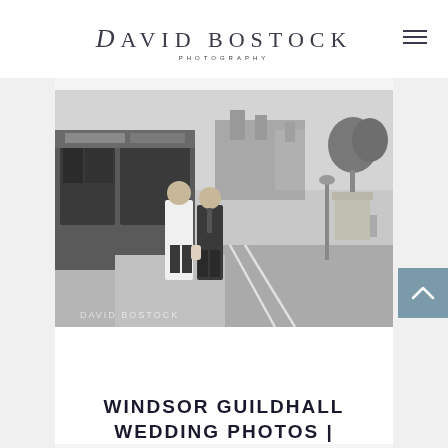DAVID BOSTOCK PHOTOGRAPHY
[Figure (photo): Black and white wedding photo of two grooms walking side by side on a cobblestone street in Windsor, with Windsor Castle visible in the background and a Thai Express restaurant on the left. Watermark reads DAVID BOSTOCK.]
WINDSOR GUILDHALL WEDDING PHOTOS |